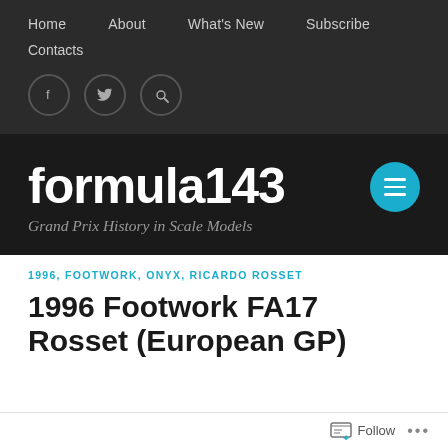Home   About   What's New   Subscribe   Contacts
formula143
Grand Prix History in Scale Models
1996, FOOTWORK, ONYX, RICARDO ROSSET
1996 Footwork FA17 Rosset (European GP)
Follow ...